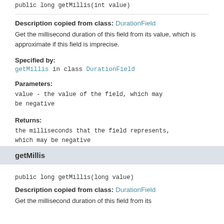public long getMillis(int value)
Description copied from class: DurationField
Get the millisecond duration of this field from its value, which is approximate if this field is imprecise.
Specified by:
getMillis in class DurationField
Parameters:
value - the value of the field, which may be negative
Returns:
the milliseconds that the field represents, which may be negative
getMillis
public long getMillis(long value)
Description copied from class: DurationField
Get the millisecond duration of this field from its